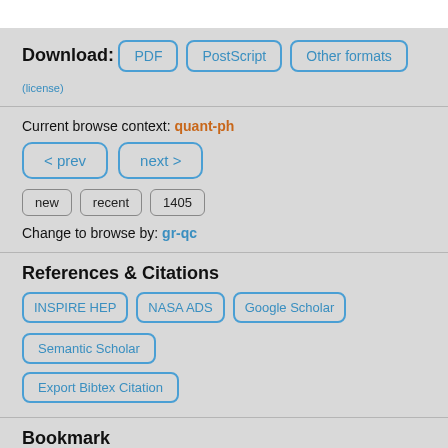Download:
PDF
PostScript
Other formats
(license)
Current browse context: quant-ph
< prev
next >
new
recent
1405
Change to browse by: gr-qc
References & Citations
INSPIRE HEP
NASA ADS
Google Scholar
Semantic Scholar
Export Bibtex Citation
Bookmark